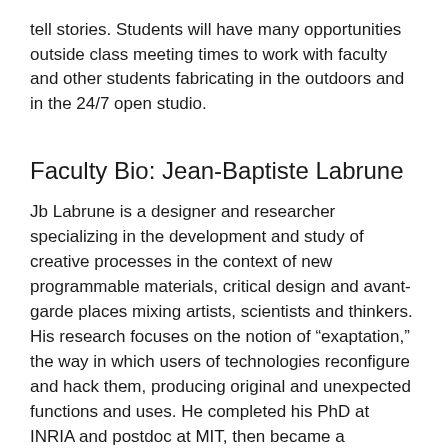tell stories. Students will have many opportunities outside class meeting times to work with faculty and other students fabricating in the outdoors and in the 24/7 open studio.
Faculty Bio: Jean-Baptiste Labrune
Jb Labrune is a designer and researcher specializing in the development and study of creative processes in the context of new programmable materials, critical design and avant-garde places mixing artists, scientists and thinkers. His research focuses on the notion of “exaptation,” the way in which users of technologies reconfigure and hack them, producing original and unexpected functions and uses. He completed his PhD at INRIA and postdoc at MIT, then became a researcher at Bell Labs and interaction design professor at ENSAD (Arts Décos School). He then joined SciencesPo University as a